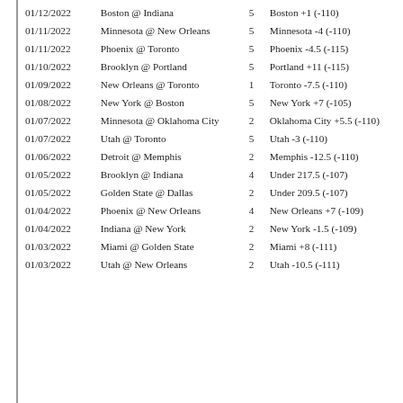| Date | Game | Units | Pick |
| --- | --- | --- | --- |
| 01/12/2022 | Boston @ Indiana | 5 | Boston +1 (-110) |
| 01/11/2022 | Minnesota @ New Orleans | 5 | Minnesota -4 (-110) |
| 01/11/2022 | Phoenix @ Toronto | 5 | Phoenix -4.5 (-115) |
| 01/10/2022 | Brooklyn @ Portland | 5 | Portland +11 (-115) |
| 01/09/2022 | New Orleans @ Toronto | 1 | Toronto -7.5 (-110) |
| 01/08/2022 | New York @ Boston | 5 | New York +7 (-105) |
| 01/07/2022 | Minnesota @ Oklahoma City | 2 | Oklahoma City +5.5 (-110) |
| 01/07/2022 | Utah @ Toronto | 5 | Utah -3 (-110) |
| 01/06/2022 | Detroit @ Memphis | 2 | Memphis -12.5 (-110) |
| 01/05/2022 | Brooklyn @ Indiana | 4 | Under 217.5 (-107) |
| 01/05/2022 | Golden State @ Dallas | 2 | Under 209.5 (-107) |
| 01/04/2022 | Phoenix @ New Orleans | 4 | New Orleans +7 (-109) |
| 01/04/2022 | Indiana @ New York | 2 | New York -1.5 (-109) |
| 01/03/2022 | Miami @ Golden State | 2 | Miami +8 (-111) |
| 01/03/2022 | Utah @ New Orleans | 2 | Utah -10.5 (-111) |